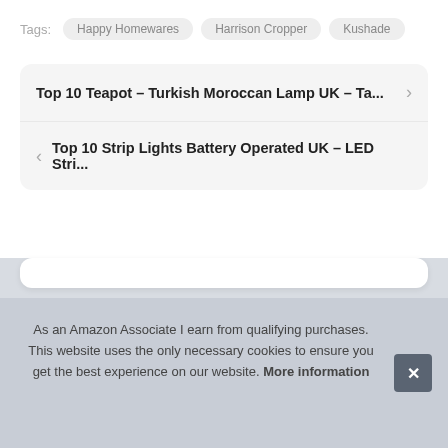Tags: Happy Homewares  Harrison Cropper  Kushade
Top 10 Teapot – Turkish Moroccan Lamp UK – Ta...
Top 10 Strip Lights Battery Operated UK – LED Stri...
As an Amazon Associate I earn from qualifying purchases. This website uses the only necessary cookies to ensure you get the best experience on our website. More information